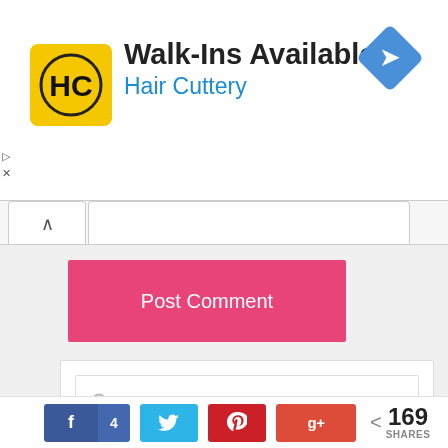[Figure (screenshot): Hair Cuttery advertisement banner with yellow HC logo, text 'Walk-Ins Available' and 'Hair Cuttery' in blue, and a blue diamond navigation icon]
[Figure (screenshot): Web page UI showing a collapsed comment form with a chevron-up tab, an input field, and a pink 'Post Comment' button]
[Figure (screenshot): Search box with magnifying glass icon and placeholder text 'Search this website']
[Figure (screenshot): Social share bar with Facebook (4), Twitter, Pinterest, Google+ buttons and 169 SHARES count]